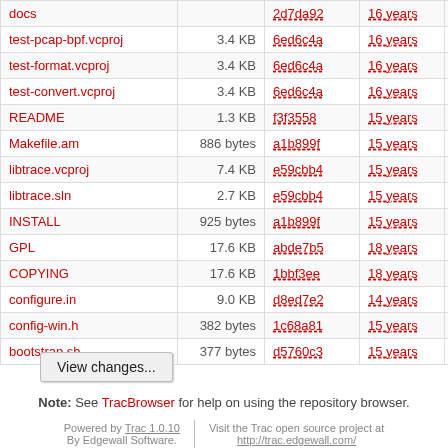| Name | Size | Rev | Age | Author | Last Change |
| --- | --- | --- | --- | --- | --- |
| docs |  | 2d7da92 | 16 years | brendonj | Start |
| test-pcap-bpf.vcproj | 3.4 KB | 6ed6c4a | 16 years | brendonj | Wind |
| test-format.vcproj | 3.4 KB | 6ed6c4a | 16 years | brendonj | Wind |
| test-convert.vcproj | 3.4 KB | 6ed6c4a | 16 years | brendonj | Wind |
| README | 1.3 KB | f3f3558 | 15 years | perry | Read |
| Makefile.am | 886 bytes | a1b899f | 15 years | salcock | Libtr |
| libtrace.vcproj | 7.4 KB | e59cbb4 | 15 years | brendonj | Upda |
| libtrace.sln | 2.7 KB | e59cbb4 | 15 years | brendonj | Upda |
| INSTALL | 925 bytes | a1b899f | 15 years | salcock | Libtr |
| GPL | 17.6 KB | abde7b5 | 18 years | dlawson | adde |
| COPYING | 17.6 KB | 1bbf3ee | 18 years | dlawson | addin |
| configure.in | 9.0 KB | d8ed7e2 | 14 years | salcock | * Add |
| config-win.h | 382 bytes | 1c68a81 | 15 years | perry | Split |
| bootstrap.sh | 377 bytes | d5760c3 | 15 years | perry | Merg |
View changes...
Note: See TracBrowser for help on using the repository browser.
Powered by Trac 1.0.10 By Edgewall Software. | Visit the Trac open source project at http://trac.edgewall.com/